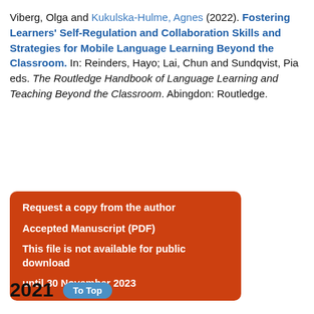Viberg, Olga and Kukulska-Hulme, Agnes (2022). Fostering Learners' Self-Regulation and Collaboration Skills and Strategies for Mobile Language Learning Beyond the Classroom. In: Reinders, Hayo; Lai, Chun and Sundqvist, Pia eds. The Routledge Handbook of Language Learning and Teaching Beyond the Classroom. Abingdon: Routledge.
Request a copy from the author
Accepted Manuscript (PDF)
This file is not available for public download
until 30 November 2023
2021   To Top